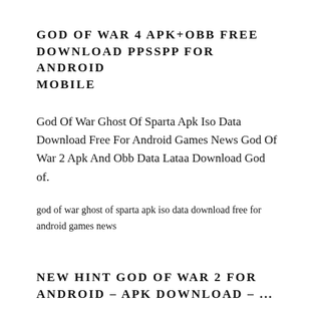GOD OF WAR 4 APK+OBB FREE DOWNLOAD PPSSPP FOR ANDROID MOBILE
God Of War Ghost Of Sparta Apk Iso Data Download Free For Android Games News God Of War 2 Apk And Obb Data Lataa Download God of.
god of war ghost of sparta apk iso data download free for android games news
NEW HINT GOD OF WAR 2 FOR ANDROID – APK DOWNLOAD – ...